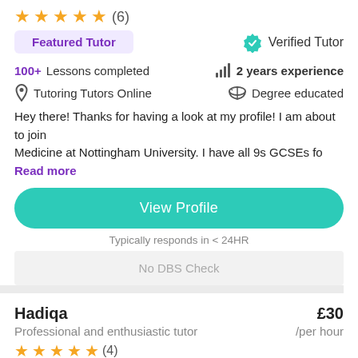★★★★★ (6)
Featured Tutor
✓ Verified Tutor
100+ Lessons completed
2 years experience
Tutoring Tutors Online
Degree educated
Hey there! Thanks for having a look at my profile! I am about to join Medicine at Nottingham University. I have all 9s GCSEs for Read more
View Profile
Typically responds in < 24HR
No DBS Check
Hadiqa £30
Professional and enthusiastic tutor /per hour
★★★★★ (4)
Verified Tutor